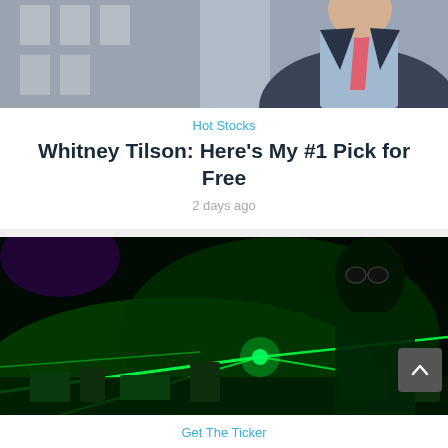[Figure (photo): Partial photo of a man in a suit with a pink tie, standing in front of a building — cropped at the top]
Hot Stocks
Whitney Tilson: Here's My #1 Pick for Free
2 days ago
[Figure (photo): Photo of a person wearing dark goggles working with green laser equipment in a laboratory setting]
Get The Ticker
2,467% Return on Israeli Laser Company?
1 week ago